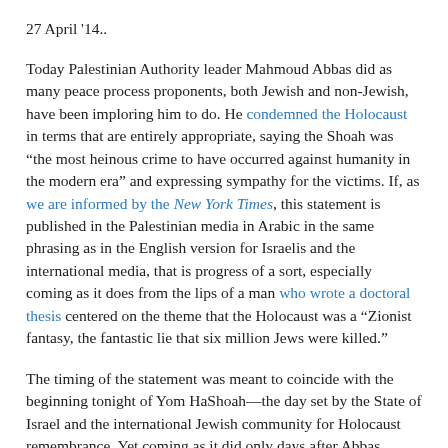27 April '14..
Today Palestinian Authority leader Mahmoud Abbas did as many peace process proponents, both Jewish and non-Jewish, have been imploring him to do. He condemned the Holocaust in terms that are entirely appropriate, saying the Shoah was “the most heinous crime to have occurred against humanity in the modern era” and expressing sympathy for the victims. If, as we are informed by the New York Times, this statement is published in the Palestinian media in Arabic in the same phrasing as in the English version for Israelis and the international media, that is progress of a sort, especially coming as it does from the lips of a man who wrote a doctoral thesis centered on the theme that the Holocaust was a “Zionist fantasy, the fantastic lie that six million Jews were killed.”
The timing of the statement was meant to coincide with the beginning tonight of Yom HaShoah—the day set by the State of Israel and the international Jewish community for Holocaust remembrance. Yet coming as it did only days after Abbas signed a unity agreement with the Hamas terrorist